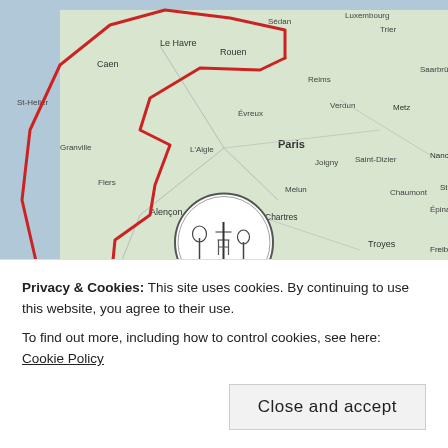[Figure (map): Map of France and surrounding regions showing a red route tracing through western France, overlaid with city labels including Paris, Rouen, Caen, Le Mans, Angers, Nantes, La Rochelle, Tours, Limoges, Clermont-Ferrand, Lyon, and others. The map background is light green/grey typical of a web mapping service.]
[Figure (logo): Circular logo with a thin border containing an illustrated scene of trees or poles, labeled as the Tracing Horizons logo]
Tracing Horizons
the way we can
Privacy & Cookies: This site uses cookies. By continuing to use this website, you agree to their use.
To find out more, including how to control cookies, see here: Cookie Policy
Close and accept